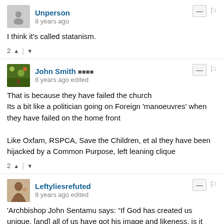Unperson
8 years ago
I think it's called statanism.
2 ^ | v
John Smith 🌐🌐🌐🌐
8 years ago edited
That is because they have failed the church
Its a bit like a politician going on Foreign 'manoeuvres' when they have failed on the home front

Like Oxfam, RSPCA, Save the Children, et al they have been hijacked by a Common Purpose, left leaning clique
2 ^ | v
Leftyliesrefuted
8 years ago edited
'Archbishop John Sentamu says: “If God has created us unique, [and] all of us have got his image and likeness, is it ever right that I should have more when somebody else has nothing?’”
If the Archbishop is even remotely serious in making this